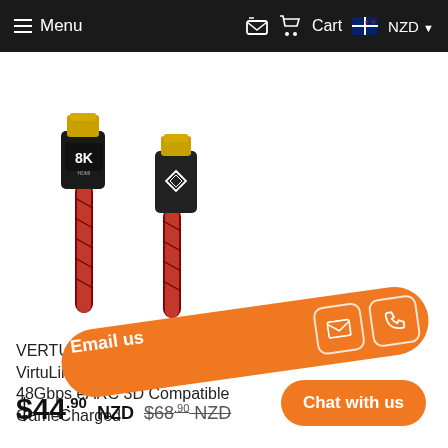Menu | Cart NZD
[Figure (photo): Two VERTUX 8K HDMI cable connectors with black housing and gold tips, attached to a red braided cable. One connector shows '8K HDMI Ultra HD' label.]
Email us
VERTUX HDMI Cable 1.5M (Red) VirtuLink-150 8K UHD/Ultra HD 48Gbps eARC 3D Compatible GameCharged
Chat with us
$44.90 NZD $68.90 NZD